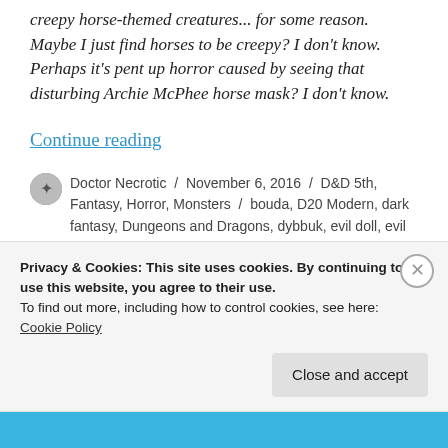creepy horse-themed creatures... for some reason.  Maybe I just find horses to be creepy?  I don't know.  Perhaps it's pent up horror caused by seeing that disturbing Archie McPhee horse mask?  I don't know.
Continue reading
Doctor Necrotic / November 6, 2016 / D&D 5th, Fantasy, Horror, Monsters / bouda, D20 Modern, dark fantasy, Dungeons and Dragons, dybbuk, evil doll, evil
Privacy & Cookies: This site uses cookies. By continuing to use this website, you agree to their use.
To find out more, including how to control cookies, see here:
Cookie Policy
Close and accept